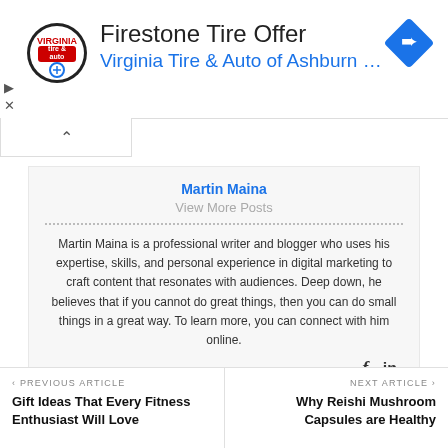[Figure (screenshot): Advertisement banner for Firestone Tire Offer at Virginia Tire & Auto of Ashburn with logo and navigation icon]
Martin Maina
View More Posts
Martin Maina is a professional writer and blogger who uses his expertise, skills, and personal experience in digital marketing to craft content that resonates with audiences. Deep down, he believes that if you cannot do great things, then you can do small things in a great way. To learn more, you can connect with him online.
‹ PREVIOUS ARTICLE
Gift Ideas That Every Fitness Enthusiast Will Love
NEXT ARTICLE ›
Why Reishi Mushroom Capsules are Healthy